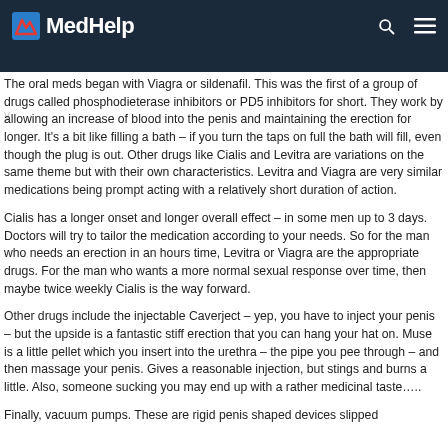MedHelp
y
The oral meds began with Viagra or sildenafil. This was the first of a group of drugs called phosphodieterase inhibitors or PD5 inhibitors for short. They work by allowing an increase of blood into the penis and maintaining the erection for longer. It's a bit like filling a bath – if you turn the taps on full the bath will fill, even though the plug is out. Other drugs like Cialis and Levitra are variations on the same theme but with their own characteristics. Levitra and Viagra are very similar medications being prompt acting with a relatively short duration of action.
Cialis has a longer onset and longer overall effect – in some men up to 3 days. Doctors will try to tailor the medication according to your needs. So for the man who needs an erection in an hours time, Levitra or Viagra are the appropriate drugs. For the man who wants a more normal sexual response over time, then maybe twice weekly Cialis is the way forward.
Other drugs include the injectable Caverject – yep, you have to inject your penis – but the upside is a fantastic stiff erection that you can hang your hat on. Muse is a little pellet which you insert into the urethra – the pipe you pee through – and then massage your penis. Gives a reasonable injection, but stings and burns a little. Also, someone sucking you may end up with a rather medicinal taste…..
Finally, vacuum pumps. These are rigid penis shaped devices slipped